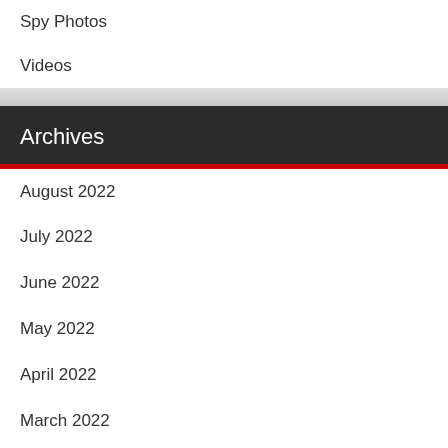Spy Photos
Videos
Archives
August 2022
July 2022
June 2022
May 2022
April 2022
March 2022
February 2022
January 2022